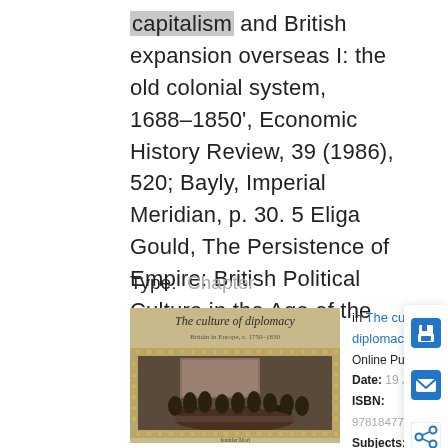capitalism and British expansion overseas I: the old colonial system, 1688–1850', Economic History Review, 39 (1986), 520; Bayly, Imperial Meridian, p. 30. 5 Eliga Gould, The Persistence of Empire: British Political Culture in the Age of the American
Type:  Chapter
[Figure (photo): Book cover of 'The culture of diplomacy: Britain in Europe, c.1750-1830' by Jennifer Mori, showing an ornate border with a painting of diplomats gathered around a table.]
in The culture of diplomacy Online Publication Date: 19 Jul 2013 ISBN: 9781847794666 Subjects: History